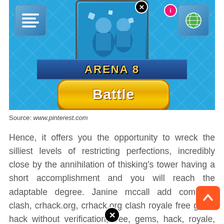[Figure (screenshot): Mobile game screenshot of Clash Royale showing Arena 8 screen with a Battle button and game card interface on a blue diamond-pattern background]
Source: www.pinterest.com
Hence, it offers you the opportunity to wreck the silliest levels of restricting perfections, incredibly close by the annihilation of thisking's tower having a short accomplishment and you will reach the adaptable degree. Janine mccall add comment clash, crhack.org, crhack.org clash royale free gems hack without verification, free, gems, hack, royale, verification, without edit crhack.org clash royale free gems hack without verification clash royale hack | get unlimited gems, gold and online hack generator 2.